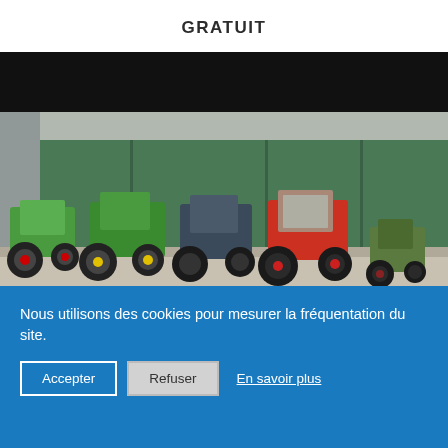GRATUIT
[Figure (photo): Row of tractors parked in front of a green industrial fence/building: two modern green tractors (Fendt-style) on the left, a green John Deere, a dark blue/grey tractor, a red vintage tractor, and a small old green tractor on the right. Concrete yard floor visible.]
Nous utilisons des cookies pour mesurer la fréquentation du site.
Accepter
Refuser
En savoir plus